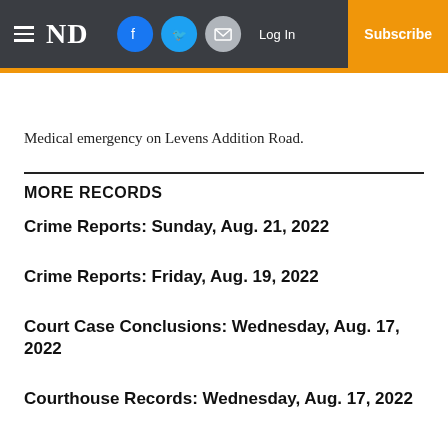ND | Log In | Subscribe
Medical emergency on Levens Addition Road.
MORE RECORDS
Crime Reports: Sunday, Aug. 21, 2022
Crime Reports: Friday, Aug. 19, 2022
Court Case Conclusions: Wednesday, Aug. 17, 2022
Courthouse Records: Wednesday, Aug. 17, 2022